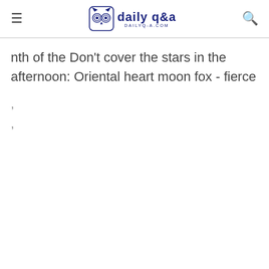daily q&a — DAILYQ-A.COM
nth of the Don't cover the stars in the afternoon: Oriental heart moon fox - fierce
,
,